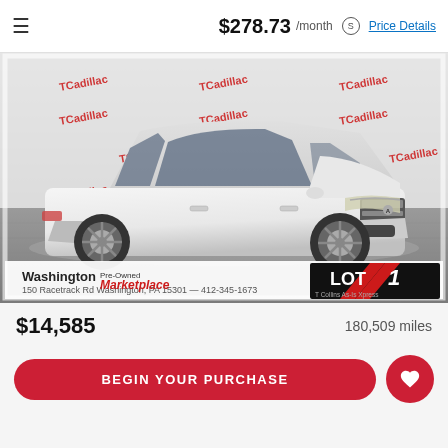≡   $278.73 /month ⓢ Price Details
[Figure (photo): White Acura MDX SUV photographed at Washington Pre-Owned Marketplace / LOT1 dealership, with branded backdrop showing 'T Collins' logos]
$14,585   180,509 miles
BEGIN YOUR PURCHASE